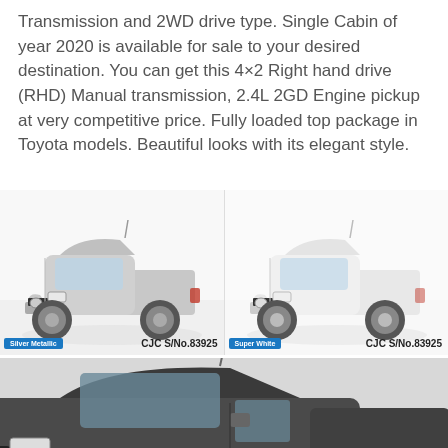Transmission and 2WD drive type. Single Cabin of year 2020 is available for sale to your desired destination. You can get this 4×2 Right hand drive (RHD) Manual transmission, 2.4L 2GD Engine pickup at very competitive price. Fully loaded top package in Toyota models. Beautiful looks with its elegant style.
[Figure (photo): Silver Metallic Toyota Hilux Single Cabin pickup truck, front-side view, with label 'Silver Metallic' and 'CJC S/No.83925']
[Figure (photo): Super White Toyota Hilux Single Cabin pickup truck, front-side view, with label 'Super White' and 'CJC S/No.83925']
[Figure (photo): Dark grey/black Toyota Hilux Single Cabin pickup truck, close-up front-side view (partial), with WhatsApp Us button overlay]